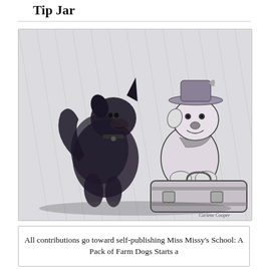Tip Jar
[Figure (illustration): Pen and ink drawing of two dogs. On the left, a shaggy dark dog with pointed ears sits facing forward. On the right, a lighter-colored dog wearing a hat sits on top of a suitcase/briefcase. Background has hatching lines suggesting outdoor setting. Artist signature in lower right corner reads 'Carlene Cooper'.]
All contributions go toward self-publishing Miss Missy's School: A Pack of Farm Dogs Starts a School...